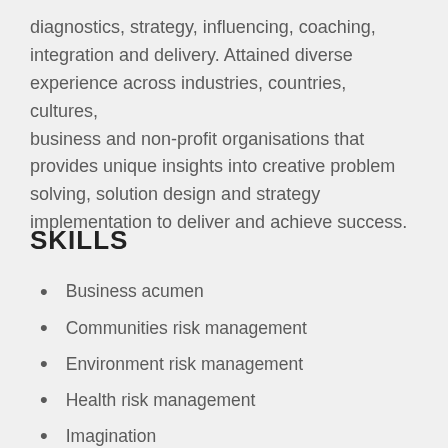diagnostics, strategy, influencing, coaching, integration and delivery. Attained diverse experience across industries, countries, cultures, business and non-profit organisations that provides unique insights into creative problem solving, solution design and strategy implementation to deliver and achieve success.
SKILLS
Business acumen
Communities risk management
Environment risk management
Health risk management
Imagination
Influencer
Leadership
Organizer
Safety risk management